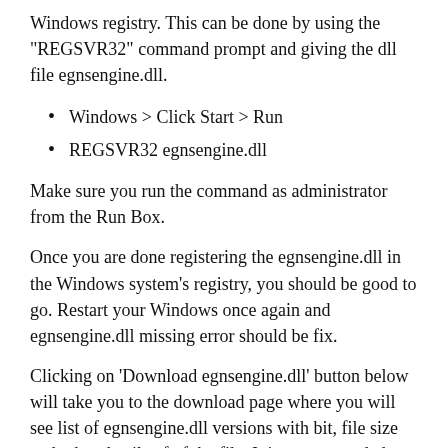Windows registry. This can be done by using the "REGSVR32" command prompt and giving the dll file egnsengine.dll.
Windows > Click Start > Run
REGSVR32 egnsengine.dll
Make sure you run the command as administrator from the Run Box.
Once you are done registering the egnsengine.dll in the Windows system's registry, you should be good to go. Restart your Windows once again and egnsengine.dll missing error should be fix.
Clicking on 'Download egnsengine.dll' button below will take you to the download page where you will see list of egnsengine.dll versions with bit, file size and other details of of the file. It is recommended to download the latest version of egnsengine.dll to fix dll errors which is v3.1.2.4.